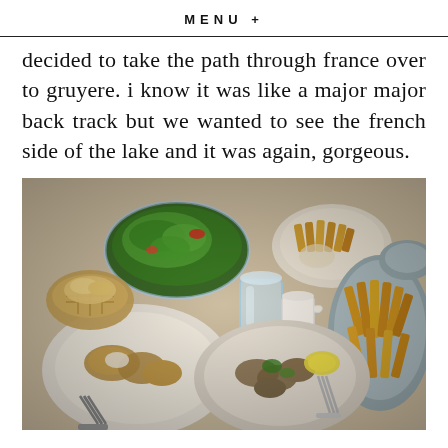MENU +
decided to take the path through france over to gruyere. i know it was like a major major back track but we wanted to see the french side of the lake and it was again, gorgeous.
[Figure (photo): A spread of food on a restaurant table including french fries on metal plates, a green salad in a glass bowl, plates with fried fish/seafood with lemon, a glass of water, a small creamer, and bread in a basket.]